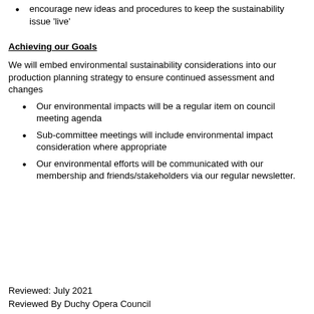encourage new ideas and procedures to keep the sustainability issue ‘live’
Achieving our Goals
We will embed environmental sustainability considerations into our production planning strategy to ensure continued assessment and changes
Our environmental impacts will be a regular item on council meeting agenda
Sub-committee meetings will include environmental impact consideration where appropriate
Our environmental efforts will be communicated with our membership and friends/stakeholders via our regular newsletter.
Reviewed: July 2021
Reviewed By Duchy Opera Council